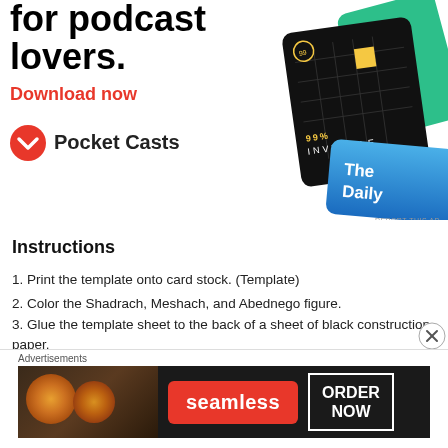[Figure (illustration): Pocket Casts advertisement showing podcast app cards (99% Invisible, The Daily, WBUR/NPR) with bold headline text 'for podcast lovers.' and 'Download now' in red. Pocket Casts logo at bottom left.]
Instructions
1. Print the template onto card stock. (Template)
2. Color the Shadrach, Meshach, and Abednego figure.
3. Glue the template sheet to the back of a sheet of black construction paper.
4. Cut out all of the white of the inside of the furnace from
[Figure (illustration): Seamless food delivery advertisement banner showing pizza images on dark background with 'seamless' red button and 'ORDER NOW' white bordered box.]